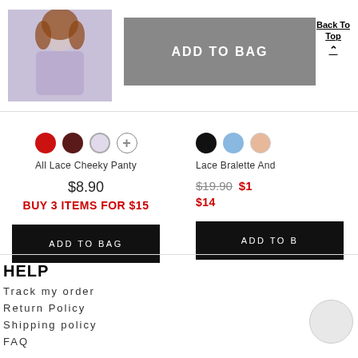[Figure (photo): Woman wearing lavender bra, thumbnail product image]
ADD TO BAG
Back To Top ▲
All Lace Cheeky Panty
$8.90
BUY 3 ITEMS FOR $15
ADD TO BAG
Lace Bralette And...
$19.90 $1...
$14
ADD TO B...
HELP
Track my order
Return Policy
Shipping policy
FAQ